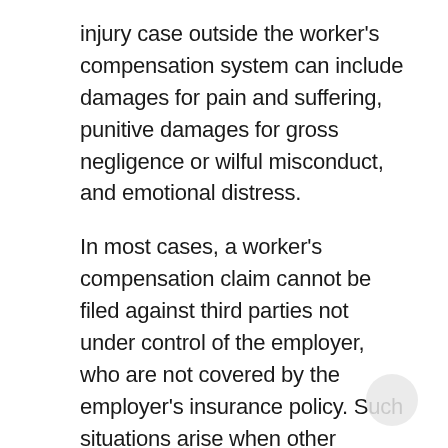injury case outside the worker's compensation system can include damages for pain and suffering, punitive damages for gross negligence or wilful misconduct, and emotional distress.
In most cases, a worker's compensation claim cannot be filed against third parties not under control of the employer, who are not covered by the employer's insurance policy. Such situations arise when other parties are careless and cause or contribute to the injury.
However, a worker can file a separate claim against negligent third parties and receive compensation. Such compensation can include pain and suffering, and is not limited only to economic damages. Examples of third party